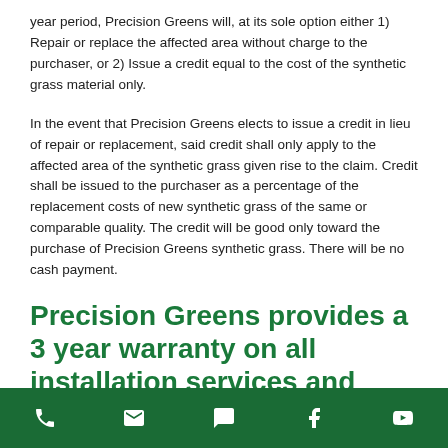year period, Precision Greens will, at its sole option either 1) Repair or replace the affected area without charge to the purchaser, or 2) Issue a credit equal to the cost of the synthetic grass material only.
In the event that Precision Greens elects to issue a credit in lieu of repair or replacement, said credit shall only apply to the affected area of the synthetic grass given rise to the claim. Credit shall be issued to the purchaser as a percentage of the replacement costs of new synthetic grass of the same or comparable quality. The credit will be good only toward the purchase of Precision Greens synthetic grass. There will be no cash payment.
Precision Greens provides a 3 year warranty on all installation services and
phone | email | chat | facebook | youtube